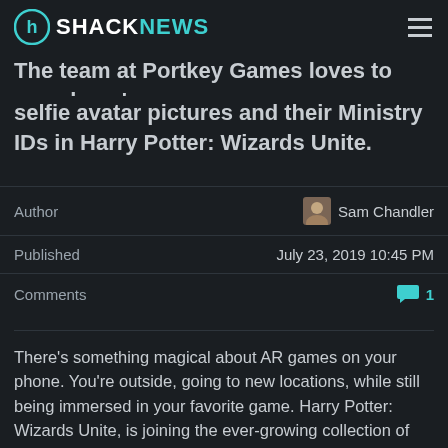SHACKNEWS
The team at Portkey Games loves to see player's selfie avatar pictures and their Ministry IDs in Harry Potter: Wizards Unite.
|  |  |
| --- | --- |
| Author | Sam Chandler |
| Published | July 23, 2019 10:45 PM |
| Comments | 1 |
There's something magical about AR games on your phone. You're outside, going to new locations, while still being immersed in your favorite game. Harry Potter: Wizards Unite, is joining the ever-growing collection of these blended-experience games. Shacknews had the chace to speak with Mary Casey, Executive Director of